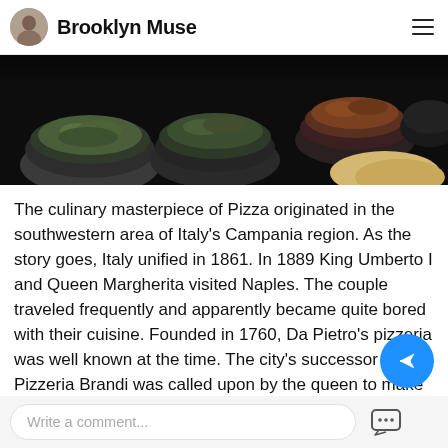Brooklyn Muse
[Figure (photo): Close-up photo of spice bowls filled with various colorful dried herbs and spices on a dark surface]
The culinary masterpiece of Pizza originated in the southwestern area of Italy's Campania region. As the story goes, Italy unified in 1861. In 1889 King Umberto I and Queen Margherita visited Naples. The couple traveled frequently and apparently became quite bored with their cuisine. Founded in 1760, Da Pietro's pizzeria was well known at the time. The city's successor Pizzeria Brandi was called upon by the queen to make an assortment of pizzas for her and her husband. The one she enjoyed the mo...